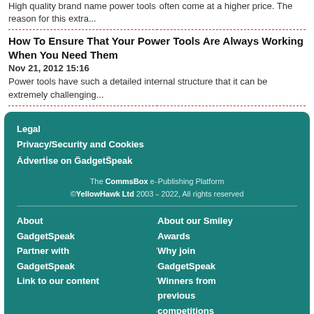High quality brand name power tools often come at a higher price. The reason for this extra...
How To Ensure That Your Power Tools Are Always Working When You Need Them
Nov 21, 2012 15:16
Power tools have such a detailed internal structure that it can be extremely challenging...
Legal
Privacy/Security and Cookies
Advertise on GadgetSpeak
The CommsBox e-Publishing Platform ©YellowHawk Ltd 2003 - 2022, All rights reserved
About GadgetSpeak
Partner with GadgetSpeak
Link to our content
About our Smiley Awards
Why join GadgetSpeak
Winners from previous competitions
Contact the editor